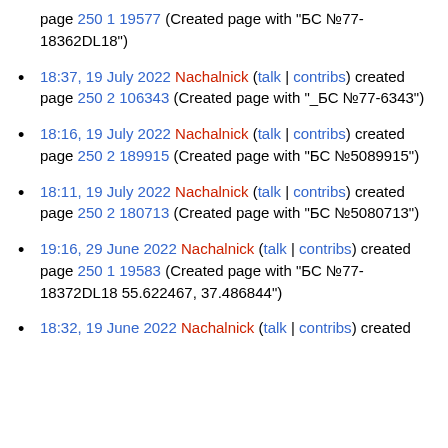page 250 1 19577 (Created page with "БС №77-18362DL18")
18:37, 19 July 2022 Nachalnick (talk | contribs) created page 250 2 106343 (Created page with "_БС №77-6343")
18:16, 19 July 2022 Nachalnick (talk | contribs) created page 250 2 189915 (Created page with "БС №5089915")
18:11, 19 July 2022 Nachalnick (talk | contribs) created page 250 2 180713 (Created page with "БС №5080713")
19:16, 29 June 2022 Nachalnick (talk | contribs) created page 250 1 19583 (Created page with "БС №77-18372DL18 55.622467, 37.486844")
18:32, 19 June 2022 Nachalnick (talk | contribs) created